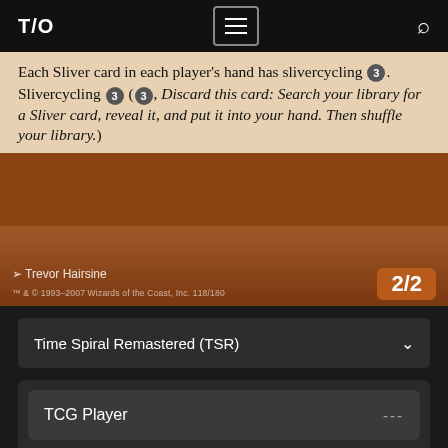T/O [menu] [search]
[Figure (photo): Magic: The Gathering card closeup showing lower portion of card with text box. Text reads: Each Sliver card in each player's hand has slivercycling 3. Slivercycling 3 (3, Discard this card: Search your library for a Sliver card, reveal it, and put it into your hand. Then shuffle your library.) Artist: Trevor Hairsine. Copyright TM & C 1993-2007 Wizards of the Coast, Inc. 118/180. Power/Toughness: 2/2]
Time Spiral Remastered (TSR)
TCG Player ---
Card Kingdom ---